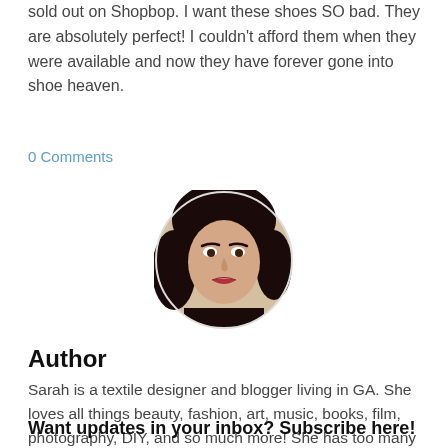sold out on Shopbop. I want these shoes SO bad. They are absolutely perfect! I couldn't afford them when they were available and now they have forever gone into shoe heaven.
0 Comments
[Figure (photo): Circular cropped photo of a young woman with dark curly hair, wearing dark clothing, smiling with red lipstick, set against a light beige background.]
Author
Sarah is a textile designer and blogger living in GA. She loves all things beauty, fashion, art, music, books, film, photography, DIY, and so much more! She has too many interests which is why she changed her major 4 times in college! xx
Want updates in your inbox? Subscribe here!